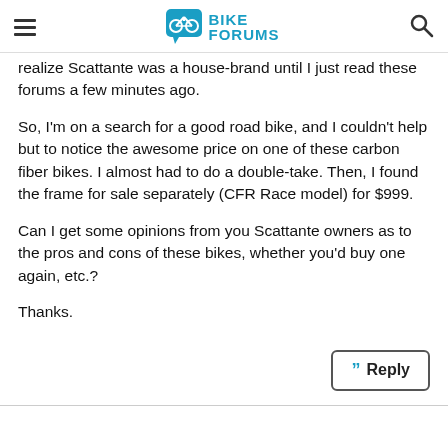BIKE FORUMS
realize Scattante was a house-brand until I just read these forums a few minutes ago.
So, I'm on a search for a good road bike, and I couldn't help but to notice the awesome price on one of these carbon fiber bikes. I almost had to do a double-take. Then, I found the frame for sale separately (CFR Race model) for $999.
Can I get some opinions from you Scattante owners as to the pros and cons of these bikes, whether you'd buy one again, etc.?
Thanks.